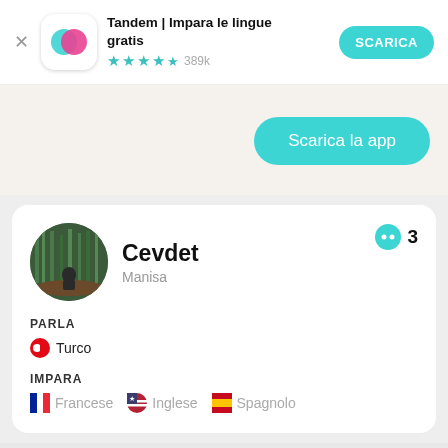[Figure (screenshot): Tandem app banner with icon, title, star rating, and SCARICA button]
Tandem | Impara le lingue gratis
★★★★½ 389k
SCARICA
Scarica la app
[Figure (photo): Profile photo of Cevdet, circular avatar showing person in forest]
Cevdet
Manisa
💬 3
PARLA
🇹🇷 Turco
IMPARA
🇫🇷 Francese   🇺🇸 Inglese   🇪🇸 Spagnolo